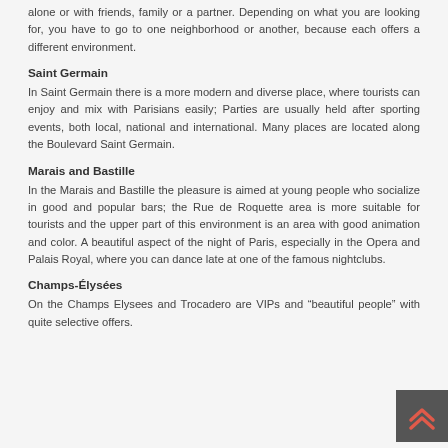alone or with friends, family or a partner. Depending on what you are looking for, you have to go to one neighborhood or another, because each offers a different environment.
Saint Germain
In Saint Germain there is a more modern and diverse place, where tourists can enjoy and mix with Parisians easily; Parties are usually held after sporting events, both local, national and international. Many places are located along the Boulevard Saint Germain.
Marais and Bastille
In the Marais and Bastille the pleasure is aimed at young people who socialize in good and popular bars; the Rue de Roquette area is more suitable for tourists and the upper part of this environment is an area with good animation and color. A beautiful aspect of the night of Paris, especially in the Opera and Palais Royal, where you can dance late at one of the famous nightclubs.
Champs-Élysées
On the Champs Elysees and Trocadero are VIPs and “beautiful people” with quite selective offers.